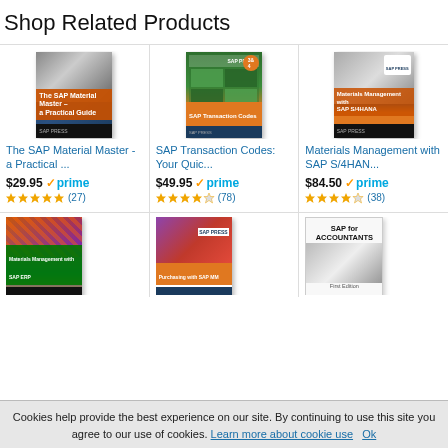Shop Related Products
[Figure (illustration): Book cover: The SAP Material Master - a Practical Guide]
The SAP Material Master - a Practical ...
$29.95 ✓prime ★★★★★ (27)
[Figure (illustration): Book cover: SAP Transaction Codes: Your Quick...]
SAP Transaction Codes: Your Quic...
$49.95 ✓prime ★★★★☆ (78)
[Figure (illustration): Book cover: Materials Management with SAP S/4HAN...]
Materials Management with SAP S/4HAN...
$84.50 ✓prime ★★★★☆ (38)
[Figure (illustration): Book cover: Materials Management with SAP ERP]
[Figure (illustration): Book cover: Purchasing with SAP MM]
[Figure (illustration): Book cover: SAP for Accountants]
Cookies help provide the best experience on our site. By continuing to use this site you agree to our use of cookies. Learn more about cookie use Ok